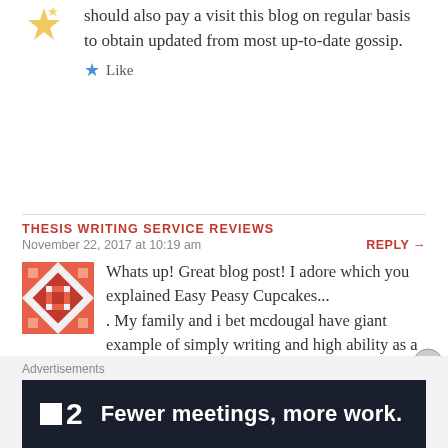should also pay a visit this blog on regular basis to obtain updated from most up-to-date gossip.
Like
THESIS WRITING SERVICE REVIEWS
November 22, 2017 at 10:19 am
REPLY →
Whats up! Great blog post! I adore which you explained Easy Peasy Cupcakes... . My family and i bet mcdougal have giant example of simply writing and high ability as a copywriter.
Advertisements
[Figure (infographic): Dark advertisement banner for a productivity tool showing a small white square icon, the number 2, and the text 'Fewer meetings, more work.']